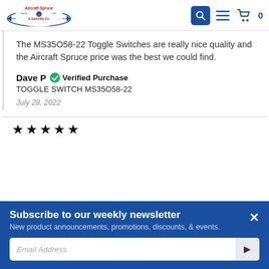Aircraft Spruce & Specialty Co.
The MS35058-22 Toggle Switches are really nice quality and the Aircraft Spruce price was the best we could find.
Dave P  Verified Purchase
TOGGLE SWITCH MS35058-22
July 28, 2022
[Figure (other): Five black star rating icons]
Subscribe to our weekly newsletter
New product announcements, promotions, discounts, & events.
Email Address